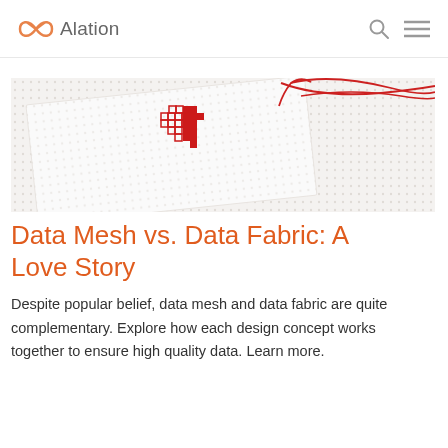Alation
[Figure (photo): Close-up photo of a cross-stitch embroidery showing a red heart partially stitched on white mesh fabric, with red thread trailing off to the right.]
Data Mesh vs. Data Fabric: A Love Story
Despite popular belief, data mesh and data fabric are quite complementary. Explore how each design concept works together to ensure high quality data. Learn more.